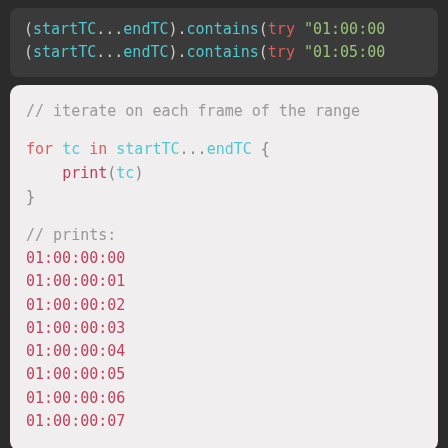[Figure (screenshot): Code snippet top block showing two lines: (startTC...endTC).contains(try "01:00:00...) and (startTC...endTC).contains(try "01:05:00...)]
[Figure (screenshot): Code block showing Swift code: comment '// iterate on each frame of the range', for loop over startTC...endTC printing tc, comment '// prints:', and timecode output lines 01:00:00:00 through 01:00:00:07]